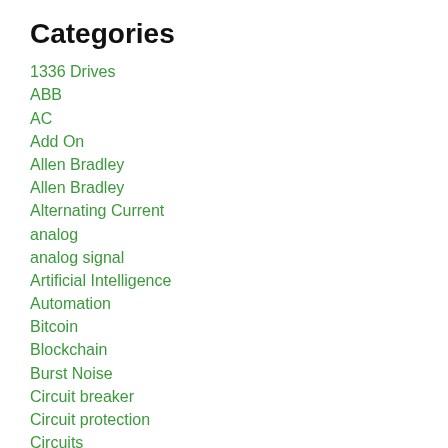Categories
1336 Drives
ABB
AC
Add On
Allen Bradley
Allen Bradley
Alternating Current
analog
analog signal
Artificial Intelligence
Automation
Bitcoin
Blockchain
Burst Noise
Circuit breaker
Circuit protection
Circuits
Communication
Communication